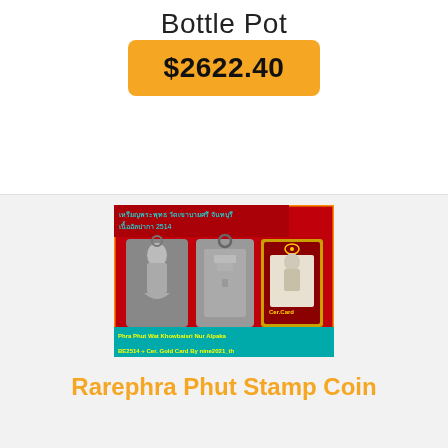Bottle Pot
$2622.40
[Figure (photo): Product photo showing Thai Buddhist amulets (Phra Phut Wat Khowbaisri Nur Alpaka BE2514) with a certification gold card, displayed on red background with flame border and text in Thai and English.]
Rarephra Phut Stamp Coin